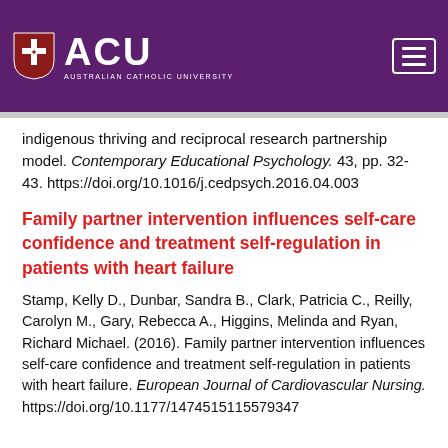[Figure (logo): Australian Catholic University (ACU) logo with shield and hamburger menu on purple header bar]
indigenous thriving and reciprocal research partnership model. Contemporary Educational Psychology. 43, pp. 32-43. https://doi.org/10.1016/j.cedpsych.2016.04.003
Family partner intervention influences self-care confidence and treatment self-regulation in patients with heart failure
Stamp, Kelly D., Dunbar, Sandra B., Clark, Patricia C., Reilly, Carolyn M., Gary, Rebecca A., Higgins, Melinda and Ryan, Richard Michael. (2016). Family partner intervention influences self-care confidence and treatment self-regulation in patients with heart failure. European Journal of Cardiovascular Nursing. https://doi.org/10.1177/1474515115579347